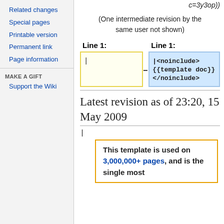Related changes
Special pages
Printable version
Permanent link
Page information
MAKE A GIFT
Support the Wiki
c=3y3op))
(One intermediate revision by the same user not shown)
| Line 1: | Line 1: |
| --- | --- |
| | | |<noinclude>
{{template doc}}
</noinclude> |
Latest revision as of 23:20, 15 May 2009
|
This template is used on 3,000,000+ pages, and is the single most